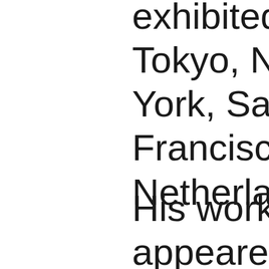exhibited in Tokyo, New York, San Francisco, Netherlands.
His work has appeared in Newsweek, Time, L... New York Times Ma... Fair Italia, and Inter... among other publica...